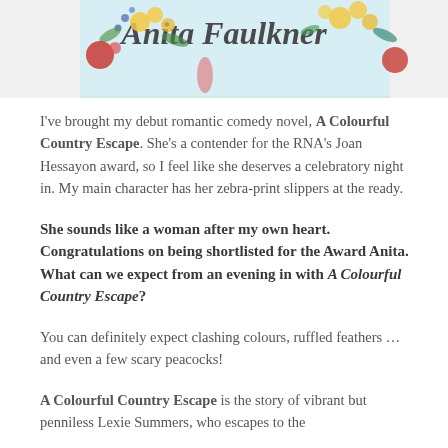[Figure (illustration): Decorative banner with floral watercolor design and text 'Anita Faulkner' in large serif font, with flowers and a figure visible]
I've brought my debut romantic comedy novel, A Colourful Country Escape. She's a contender for the RNA's Joan Hessayon award, so I feel like she deserves a celebratory night in. My main character has her zebra-print slippers at the ready.
She sounds like a woman after my own heart. Congratulations on being shortlisted for the Award Anita. What can we expect from an evening in with A Colourful Country Escape?
You can definitely expect clashing colours, ruffled feathers … and even a few scary peacocks!
A Colourful Country Escape is the story of vibrant but penniless Lexie Summers, who escapes to the